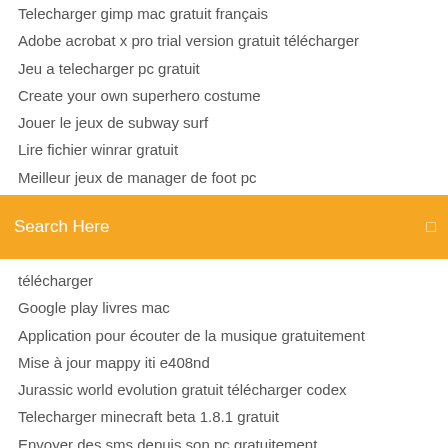Telecharger gimp mac gratuit français
Adobe acrobat x pro trial version gratuit télécharger
Jeu a telecharger pc gratuit
Create your own superhero costume
Jouer le jeux de subway surf
Lire fichier winrar gratuit
Meilleur jeux de manager de foot pc
[Figure (screenshot): Orange search bar with white text 'Search Here' and a search icon on the right]
télécharger
Google play livres mac
Application pour écouter de la musique gratuitement
Mise à jour mappy iti e408nd
Jurassic world evolution gratuit télécharger codex
Telecharger minecraft beta 1.8.1 gratuit
Envoyer des sms depuis son pc gratuitement
Best vpn private internet access
Recuperer mot de passe outlook 2007
Telecharger battlefield 3 pc gratuit complet utorrent